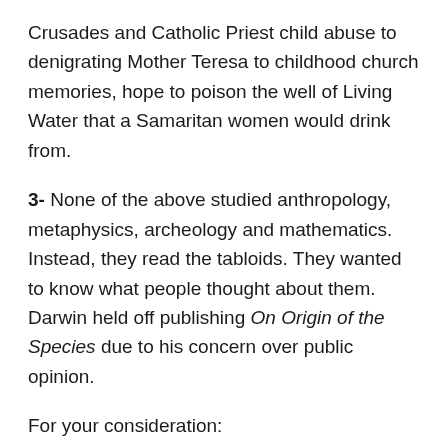Crusades and Catholic Priest child abuse to denigrating Mother Teresa to childhood church memories, hope to poison the well of Living Water that a Samaritan women would drink from.
3- None of the above studied anthropology, metaphysics, archeology and mathematics. Instead, they read the tabloids. They wanted to know what people thought about them. Darwin held off publishing On Origin of the Species due to his concern over public opinion.
For your consideration:
Dr. Aczel states that atheism began with the “Atomist” philosophers. This is not so. Atheism is a post-Christian phenomenon. The Epicureans mentioned above believed in Roman and Greek deities, to be sure, but they felt that